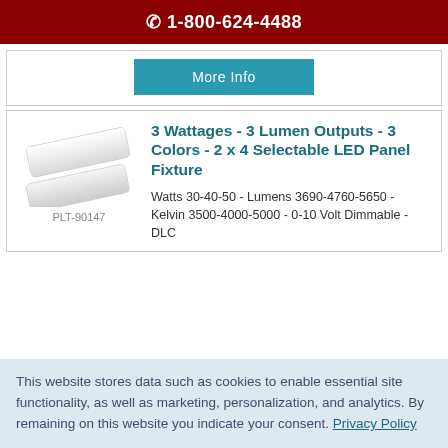📞 1-800-624-4488
[Figure (other): Teal/blue More Info button]
[Figure (photo): Two white rectangular LED panel fixtures shown diagonally, SKU PLT-90147]
3 Wattages - 3 Lumen Outputs - 3 Colors - 2 x 4 Selectable LED Panel Fixture
Watts 30-40-50 - Lumens 3690-4760-5650 - Kelvin 3500-4000-5000 - 0-10 Volt Dimmable - DLC
This website stores data such as cookies to enable essential site functionality, as well as marketing, personalization, and analytics. By remaining on this website you indicate your consent. Privacy Policy